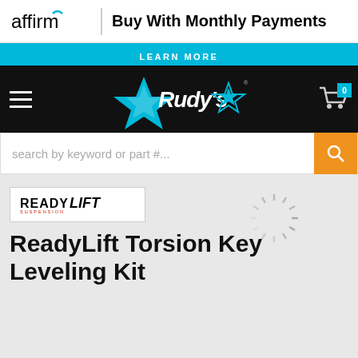[Figure (logo): Affirm logo with text 'Buy With Monthly Payments']
LEARN MORE
[Figure (logo): Rudy's Performance Parts logo on black navigation bar with hamburger menu and shopping cart]
search by keyword or part #...
[Figure (logo): ReadyLift Suspension brand logo]
ReadyLift Torsion Key Leveling Kit